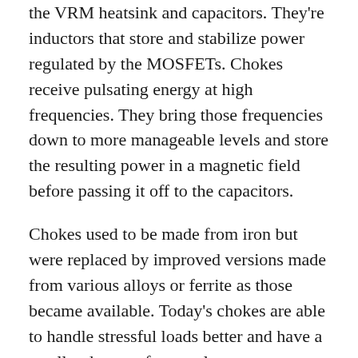the VRM heatsink and capacitors. They're inductors that store and stabilize power regulated by the MOSFETs. Chokes receive pulsating energy at high frequencies. They bring those frequencies down to more manageable levels and store the resulting power in a magnetic field before passing it off to the capacitors.
Chokes used to be made from iron but were replaced by improved versions made from various alloys or ferrite as those became available. Today's chokes are able to handle stressful loads better and have a smaller degree of power loss.
You can use the number of chokes in the VRM to guess how many phases it has without consulting